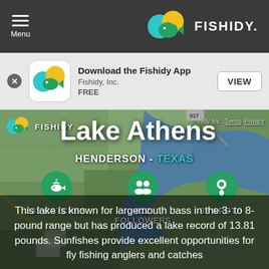Menu | FISHIDY
[Figure (screenshot): App download banner for Fishidy App - shows app icon, title 'Download the Fishidy App', company 'Fishidy, Inc.', price 'FREE', and a VIEW button]
[Figure (map): Aerial/satellite map view of Lake Athens, Henderson - Texas showing the lake and surrounding farmland]
Lake Athens
HENDERSON - TEXAS
335 CATCHES
612 FOLLOWERS
35 SPOTS
This lake is known for largemouth bass in the 3- to 8-pound range but has produced a lake record of 13.81 pounds. Sunfishes provide excellent opportunities for fly fishing anglers and catches